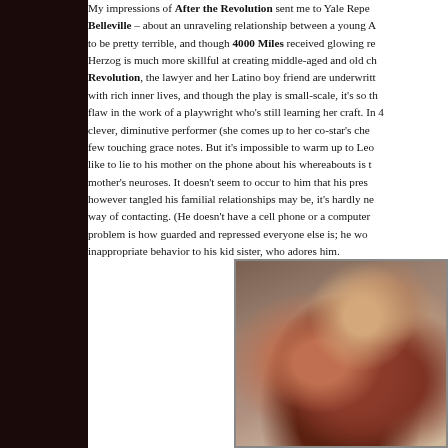My impressions of After the Revolution sent me to Yale Rep… Belleville – about an unraveling relationship between a young A… to be pretty terrible, and though 4000 Miles received glowing re… Herzog is much more skillful at creating middle-aged and old ch… Revolution, the lawyer and her Latino boy friend are underwrit… with rich inner lives, and though the play is small-scale, it's so t… flaw in the work of a playwright who's still learning her craft. In 4… clever, diminutive performer (she comes up to her co-star's che… few touching grace notes. But it's impossible to warm up to Leo… like to lie to his mother on the phone about his whereabouts is t… mother's neuroses. It doesn't seem to occur to him that his pres… however tangled his familial relationships may be, it's hardly ne… way of contacting. (He doesn't have a cell phone or a computer… problem is how guarded and repressed everyone else is; he wo… inappropriate behavior to his kid sister, who adores him.
[Figure (photo): Two people hugging closely, one wearing a red plaid shirt, photographed indoors]